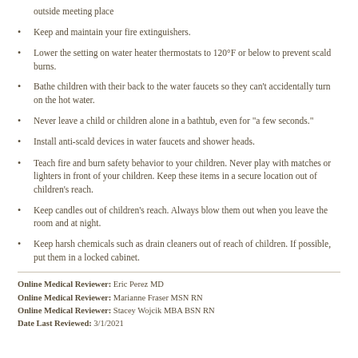outside meeting place
Keep and maintain your fire extinguishers.
Lower the setting on water heater thermostats to 120°F or below to prevent scald burns.
Bathe children with their back to the water faucets so they can't accidentally turn on the hot water.
Never leave a child or children alone in a bathtub, even for "a few seconds."
Install anti-scald devices in water faucets and shower heads.
Teach fire and burn safety behavior to your children. Never play with matches or lighters in front of your children. Keep these items in a secure location out of children's reach.
Keep candles out of children's reach. Always blow them out when you leave the room and at night.
Keep harsh chemicals such as drain cleaners out of reach of children. If possible, put them in a locked cabinet.
Online Medical Reviewer: Eric Perez MD
Online Medical Reviewer: Marianne Fraser MSN RN
Online Medical Reviewer: Stacey Wojcik MBA BSN RN
Date Last Reviewed: 3/1/2021